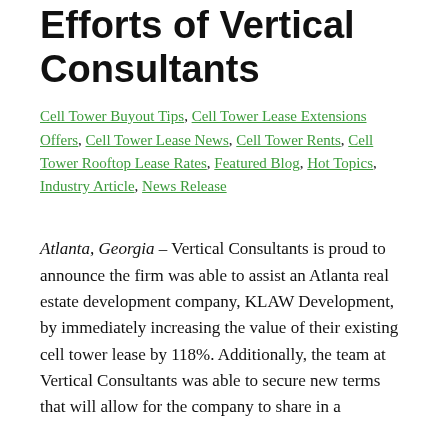Efforts of Vertical Consultants
Cell Tower Buyout Tips, Cell Tower Lease Extensions Offers, Cell Tower Lease News, Cell Tower Rents, Cell Tower Rooftop Lease Rates, Featured Blog, Hot Topics, Industry Article, News Release
Atlanta, Georgia – Vertical Consultants is proud to announce the firm was able to assist an Atlanta real estate development company, KLAW Development, by immediately increasing the value of their existing cell tower lease by 118%. Additionally, the team at Vertical Consultants was able to secure new terms that will allow for the company to share in a